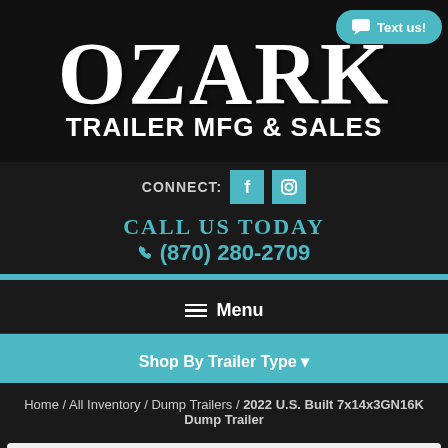[Figure (logo): Ozark Trailer MFG & Sales logo with large stylized OZARK text on dark leather background]
Text us!
CONNECT:
CALL US TODAY
(870) 280-2709
Menu
Shop By Trailer Type
Home / All Inventory / Dump Trailers / 2022 U.S. Built 7x14x3GN16K Dump Trailer
2022 U.S. Built
Go Back